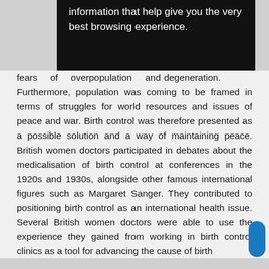information that help give you the very best browsing experience.
fears of overpopulation and degeneration. Furthermore, population was coming to be framed in terms of struggles for world resources and issues of peace and war. Birth control was therefore presented as a possible solution and a way of maintaining peace. British women doctors participated in debates about the medicalisation of birth control at conferences in the 1920s and 1930s, alongside other famous international figures such as Margaret Sanger. They contributed to positioning birth control as an international health issue. Several British women doctors were able to use the experience they gained from working in birth control clinics as a tool for advancing the cause of birth